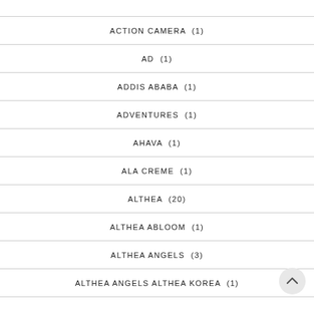ACTION CAMERA (1)
AD (1)
ADDIS ABABA (1)
ADVENTURES (1)
AHAVA (1)
ALA CREME (1)
ALTHEA (20)
ALTHEA ABLOOM (1)
ALTHEA ANGELS (3)
ALTHEA ANGELS ALTHEA KOREA (1)